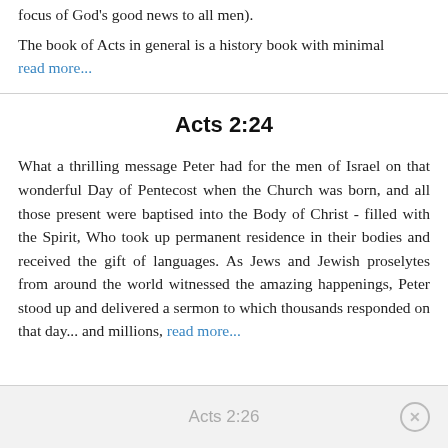focus of God's good news to all men).
The book of Acts in general is a history book with minimal read more...
Acts 2:24
What a thrilling message Peter had for the men of Israel on that wonderful Day of Pentecost when the Church was born, and all those present were baptised into the Body of Christ - filled with the Spirit, Who took up permanent residence in their bodies and received the gift of languages. As Jews and Jewish proselytes from around the world witnessed the amazing happenings, Peter stood up and delivered a sermon to which thousands responded on that day... and millions, read more...
Acts 2:26